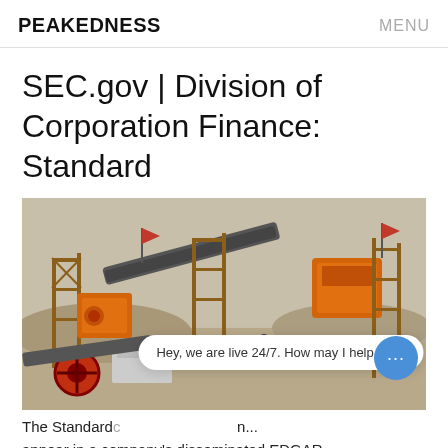PEAKEDNESS   MENU
SEC.gov | Division of Corporation Finance: Standard
[Figure (photo): Industrial mining/quarrying machinery scene with conveyor belts, orange crushers, scaffolding, flags, and heavy equipment on a dusty construction site.]
The Standard ... n... appear in a company's disseminated EDGAR